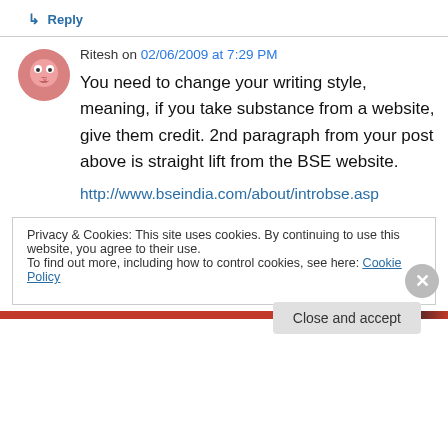↳ Reply
Ritesh on 02/06/2009 at 7:29 PM
You need to change your writing style, meaning, if you take substance from a website, give them credit. 2nd paragraph from your post above is straight lift from the BSE website.
http://www.bseindia.com/about/introbse.asp
Privacy & Cookies: This site uses cookies. By continuing to use this website, you agree to their use.
To find out more, including how to control cookies, see here: Cookie Policy
Close and accept